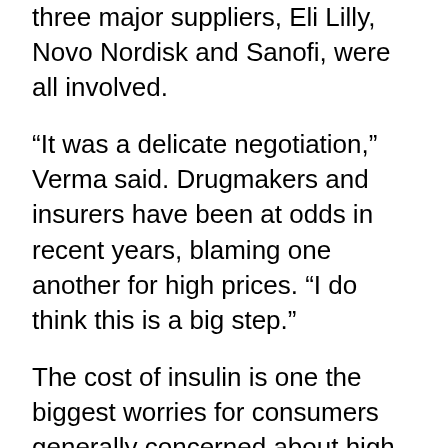three major suppliers, Eli Lilly, Novo Nordisk and Sanofi, were all involved.
“It was a delicate negotiation,” Verma said. Drugmakers and insurers have been at odds in recent years, blaming one another for high prices. “I do think this is a big step.”
The cost of insulin is one the biggest worries for consumers generally concerned about high prices for brand name drugs. Millions of people with diabetes use insulin to keep their blood sugars within normal ranges and stave off complications that can include heart disease, blindness, kidney failure and amputations. People with diabetes also suffer worse outcomes from COVID-19.
An AP-NORC poll this month found warning signs for